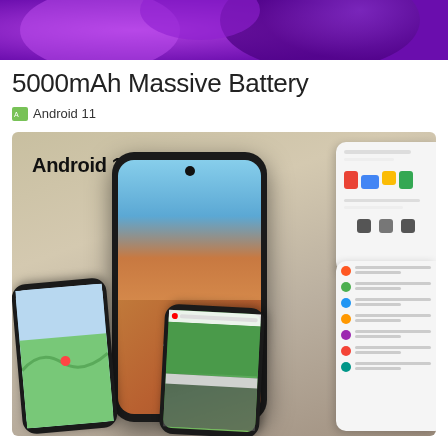[Figure (photo): Purple and blue abstract background banner at the top]
5000mAh Massive Battery
Android 11
[Figure (photo): Android 11 promotional image showing multiple phones with Android 11 branding, maps, YouTube, and Google apps screenshots]